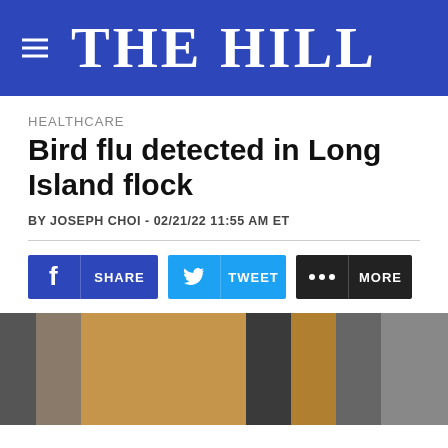THE HILL
HEALTHCARE
Bird flu detected in Long Island flock
BY JOSEPH CHOI - 02/21/22 11:55 AM ET
[Figure (screenshot): Social share buttons: Facebook SHARE, Twitter TWEET, and MORE]
[Figure (photo): A person holding a brown/orange chicken near wire cages in what appears to be a farm or poultry setting]